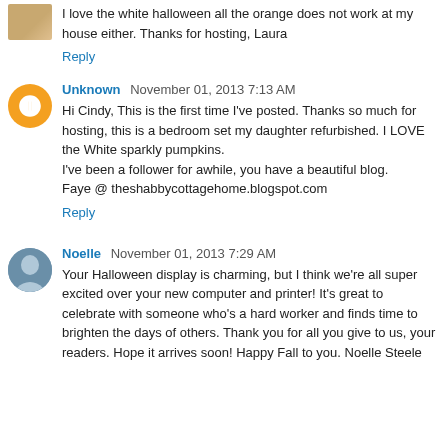I love the white halloween all the orange does not work at my house either. Thanks for hosting, Laura
Reply
Unknown  November 01, 2013 7:13 AM
Hi Cindy, This is the first time I've posted. Thanks so much for hosting, this is a bedroom set my daughter refurbished. I LOVE the White sparkly pumpkins.
I've been a follower for awhile, you have a beautiful blog.
Faye @ theshabbycottagehome.blogspot.com
Reply
Noelle  November 01, 2013 7:29 AM
Your Halloween display is charming, but I think we're all super excited over your new computer and printer! It's great to celebrate with someone who's a hard worker and finds time to brighten the days of others. Thank you for all you give to us, your readers. Hope it arrives soon! Happy Fall to you. Noelle Steele